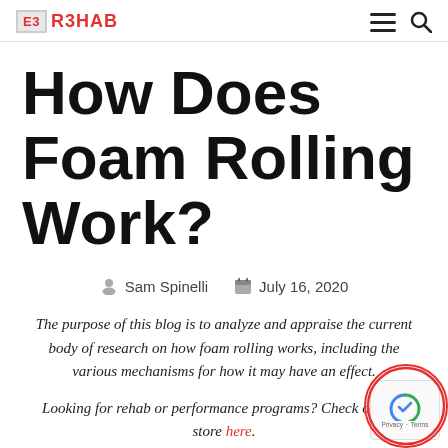E3 R3HAB
How Does Foam Rolling Work?
Sam Spinelli   July 16, 2020
The purpose of this blog is to analyze and appraise the current body of research on how foam rolling works, including the various mechanisms for how it may have an effect.
Looking for rehab or performance programs? Check out our store here.